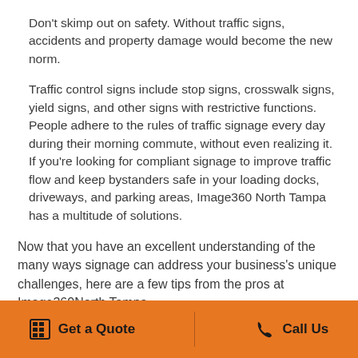Don't skimp out on safety. Without traffic signs, accidents and property damage would become the new norm.
Traffic control signs include stop signs, crosswalk signs, yield signs, and other signs with restrictive functions. People adhere to the rules of traffic signage every day during their morning commute, without even realizing it. If you're looking for compliant signage to improve traffic flow and keep bystanders safe in your loading docks, driveways, and parking areas, Image360 North Tampa has a multitude of solutions.
Now that you have an excellent understanding of the many ways signage can address your business's unique challenges, here are a few tips from the pros at Image360North Tampa.
Get a Quote   Call Us